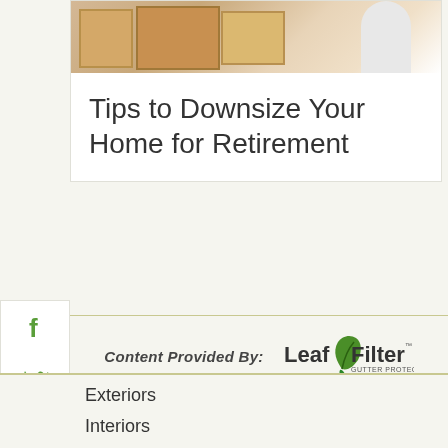[Figure (photo): Photo of moving boxes stacked with a person in white clothing in the background]
Tips to Downsize Your Home for Retirement
[Figure (infographic): Social media share icons: Facebook, Twitter, Pinterest in green]
Content Provided By:
[Figure (logo): LeafFilter Gutter Protection logo]
Exteriors
Interiors
How-To's
Eavestrough Cleaning